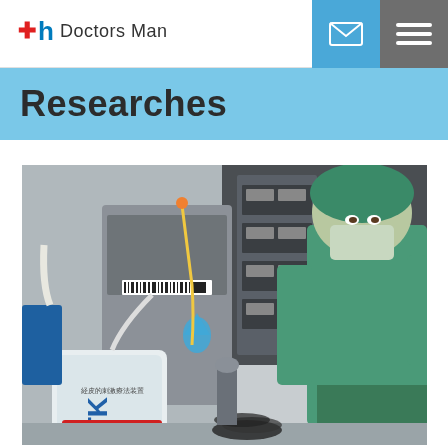Doctors Man
Researches
[Figure (photo): A medical professional in green surgical scrubs, cap, and mask working in an operating or medical research room with equipment including an ETK labeled IV bag and various medical machines in the background.]